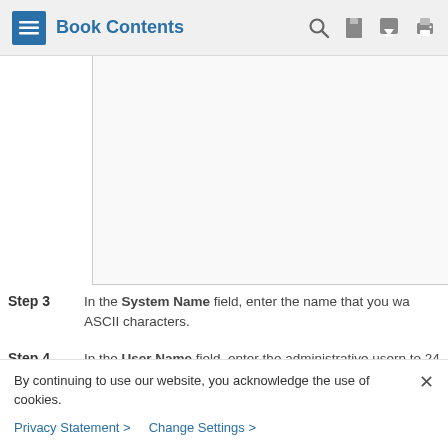Book Contents
[Figure (screenshot): Blank white/light gray content area with left and bottom borders, representing an image or UI screenshot placeholder]
Step 3 — In the System Name field, enter the name that you wa... ASCII characters.
Step 4 — In the User Name field, enter the administrative usern... to 24 ASCII characters. The default username is admi...
By continuing to use our website, you acknowledge the use of cookies.
Privacy Statement > Change Settings >